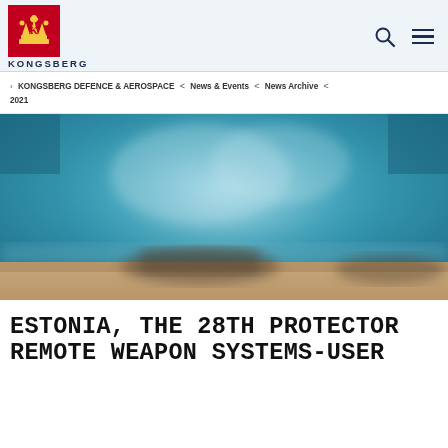KONGSBERG
KONGSBERG DEFENCE & AEROSPACE < News & Events < News Archive < 2021
[Figure (photo): Blurred outdoor photo showing a military vehicle or weapon system against a teal/blue sky background with sandy ground visible at the bottom.]
ESTONIA, THE 28TH PROTECTOR REMOTE WEAPON SYSTEMS-USER